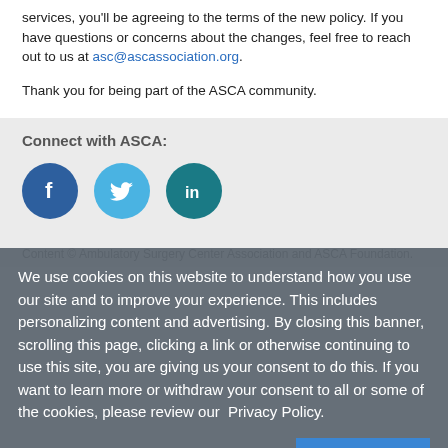services, you'll be agreeing to the terms of the new policy. If you have questions or concerns about the changes, feel free to reach out to us at asc@ascassociation.org.
Thank you for being part of the ASCA community.
Connect with ASCA:
[Figure (illustration): Three social media icons: Facebook (dark blue circle with 'f'), Twitter (light blue circle with bird icon), LinkedIn (teal circle with 'in')]
Content © Ambulatory Surgery Center Association and ASCA Foundation.
We use cookies on this website to understand how you use our site and to improve your experience. This includes personalizing content and advertising. By closing this banner, scrolling this page, clicking a link or otherwise continuing to use this site, you are giving us your consent to do this. If you want to learn more or withdraw your consent to all or some of the cookies, please review our  Privacy Policy.